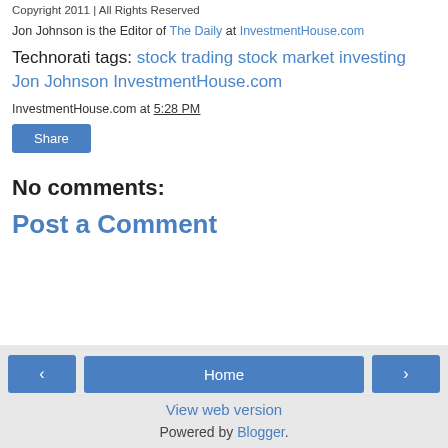Copyright 2011 | All Rights Reserved
Jon Johnson is the Editor of The Daily at InvestmentHouse.com
Technorati tags: stock trading stock market investing Jon Johnson InvestmentHouse.com
InvestmentHouse.com at 5:28 PM
Share
No comments:
Post a Comment
‹  Home  ›  View web version  Powered by Blogger.